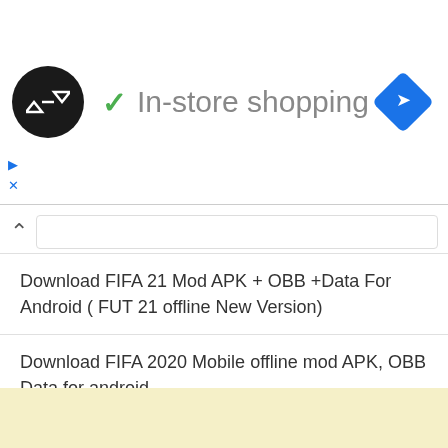[Figure (screenshot): Ad banner with circular logo, checkmark, 'In-store shopping' text, and blue diamond navigation icon]
Download FIFA 21 Mod APK + OBB +Data For Android ( FUT 21 offline New Version)
Download FIFA 2020 Mobile offline mod APK, OBB Data for android
Download FIFA 2021 Mod FIFA 14 Apk Obb + Data Offline for Android
How To Get Free Data On MTN Without Recharging ( Enjoy Free 30GB )